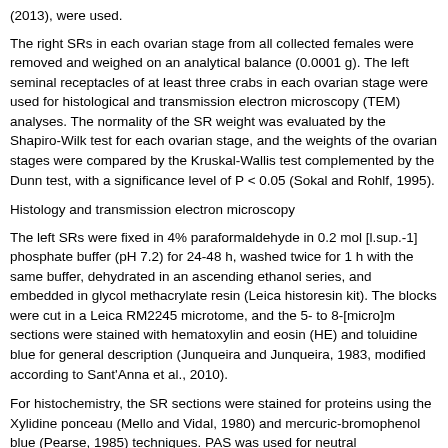(2013), were used.
The right SRs in each ovarian stage from all collected females were removed and weighed on an analytical balance (0.0001 g). The left seminal receptacles of at least three crabs in each ovarian stage were used for histological and transmission electron microscopy (TEM) analyses. The normality of the SR weight was evaluated by the Shapiro-Wilk test for each ovarian stage, and the weights of the ovarian stages were compared by the Kruskal-Wallis test complemented by the Dunn test, with a significance level of P < 0.05 (Sokal and Rohlf, 1995).
Histology and transmission electron microscopy
The left SRs were fixed in 4% paraformaldehyde in 0.2 mol [l.sup.-1] phosphate buffer (pH 7.2) for 24-48 h, washed twice for 1 h with the same buffer, dehydrated in an ascending ethanol series, and embedded in glycol methacrylate resin (Leica historesin kit). The blocks were cut in a Leica RM2245 microtome, and the 5- to 8-[micro]m sections were stained with hematoxylin and eosin (HE) and toluidine blue for general description (Junqueira and Junqueira, 1983, modified according to Sant'Anna et al., 2010).
For histochemistry, the SR sections were stained for proteins using the Xylidine ponceau (Mello and Vidal, 1980) and mercuric-bromophenol blue (Pearse, 1985) techniques. PAS was used for neutral polysaccharides with 1,2-glycol groups, and Alcian blue (pH 1.0 and 2.5) for acid polysaccharides (Junqueira and Junqueira, 1983). Collagen fibers were revealed with picrosirius red (Direct red 80) (Junqueira and Junqueira, 1983) and collagen III by the silver impregnation method (Gomori, 1937). The images were obtained in a Leica DM2000 light microscope and digitalized using the IM50 software.